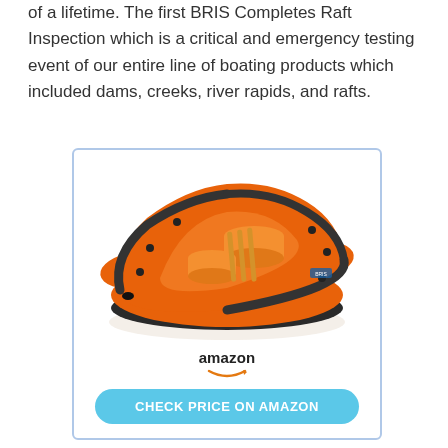of a lifetime. The first BRIS Completes Raft Inspection which is a critical and emergency testing event of our entire line of boating products which included dams, creeks, river rapids, and rafts.
[Figure (photo): An orange inflatable river rafting boat with black trim, cylindrical seat cushions inside, shown from an elevated angle on a white background. Below the raft is the Amazon logo with smile arc, and a teal/cyan rounded button reading CHECK PRICE ON AMAZON.]